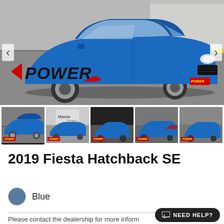[Figure (photo): Main large photo of a blue 2019 Ford Fiesta Hatchback SE at a car dealership parking lot. The car faces slightly to the right. A red POWER dealership logo is overlaid in the lower left. Navigation arrows appear on left and right sides.]
[Figure (photo): Row of 5 thumbnail photos of the same blue Ford Fiesta from various angles at the Power dealership. First thumbnail is selected (underlined). Each thumbnail has a small POWER badge.]
2019 Fiesta Hatchback SE
Blue
Please contact the dealership for more information  ...re